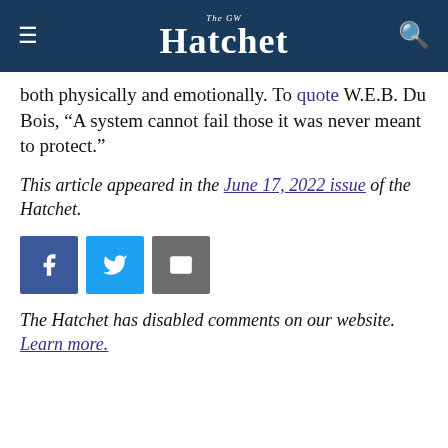The GW Hatchet
both physically and emotionally. To quote W.E.B. Du Bois, “A system cannot fail those it was never meant to protect.”
This article appeared in the June 17, 2022 issue of the Hatchet.
[Figure (other): Social share buttons: Facebook, Twitter, Email]
The Hatchet has disabled comments on our website. Learn more.